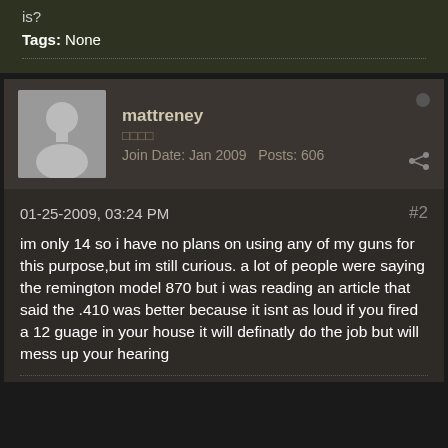is?
Tags: None
mattreney
□□□□
Join Date: Jan 2009  Posts: 606
01-25-2009, 03:24 PM  #2
im only 14 so i have no plans on using any of my guns for this purpose,but im still curious. a lot of people were saying the remington model 870 but i was reading an article that said the .410 was better because it isnt as loud if you fired a 12 guage in your house it will definatly do the job but will mess up your hearing